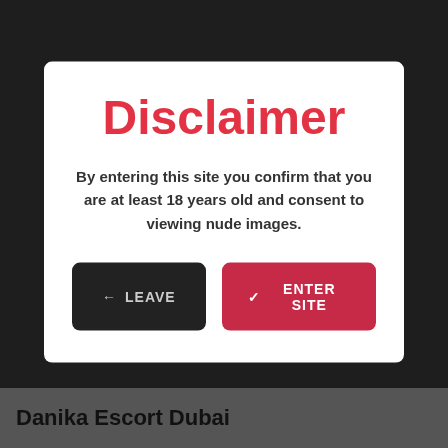[Figure (screenshot): Dark background showing a website with partially visible images behind a modal disclaimer dialog.]
Disclaimer
By entering this site you confirm that you are at least 18 years old and consent to viewing nude images.
← LEAVE
✓ ENTER SITE
Danika Escort Dubai